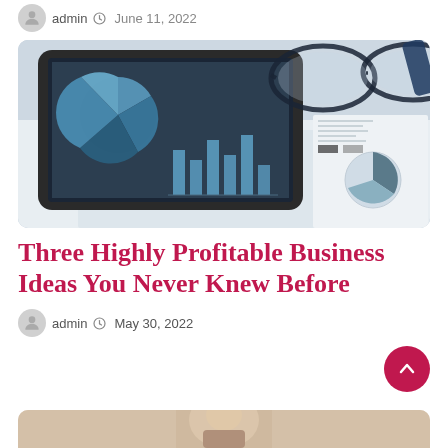admin  June 11, 2022
[Figure (photo): Tablet showing financial charts (pie chart and bar chart) resting on printed financial documents, with glasses in the background]
Three Highly Profitable Business Ideas You Never Knew Before
admin  May 30, 2022